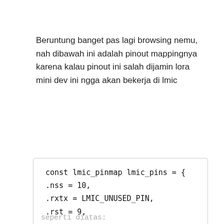Beruntung banget pas lagi browsing nemu, nah dibawah ini adalah pinout mappingnya karena kalau pinout ini salah dijamin lora mini dev ini ngga akan bekerja di lmic
const lmic_pinmap lmic_pins = {
.nss = 10,
.rxtx = LMIC_UNUSED_PIN,
.rst = 9,
Privacy & Cookies: This site uses cookies. By continuing to use this website, you agree to their use.
To find out more, including how to control cookies, see here: Cookie Policy
Close and accept
seperti diatas: